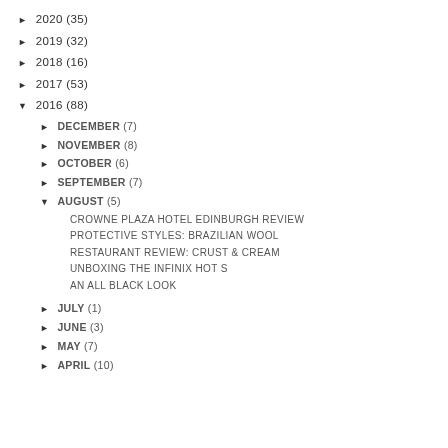► 2020 (35)
► 2019 (32)
► 2018 (16)
► 2017 (53)
▼ 2016 (88)
► DECEMBER (7)
► NOVEMBER (8)
► OCTOBER (6)
► SEPTEMBER (7)
▼ AUGUST (5)
CROWNE PLAZA HOTEL EDINBURGH REVIEW
PROTECTIVE STYLES: BRAZILIAN WOOL
RESTAURANT REVIEW: CRUST & CREAM
UNBOXING THE INFINIX HOT S
AN ALL BLACK LOOK
► JULY (1)
► JUNE (3)
► MAY (7)
► APRIL (10)